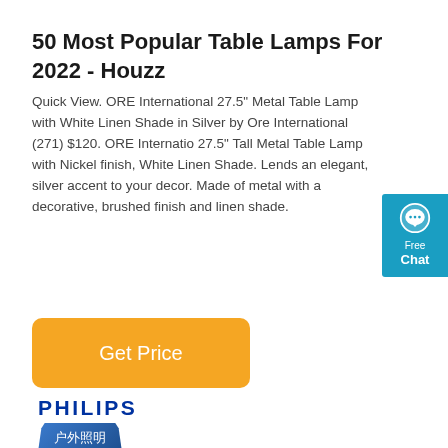50 Most Popular Table Lamps For 2022 - Houzz
Quick View. ORE International 27.5" Metal Table Lamp with White Linen Shade in Silver by Ore International (271) $120. ORE International 27.5" Tall Metal Table Lamp with Nickel finish, White Linen Shade. Lends an elegant, silver accent to your decor. Made of metal with a decorative, brushed finish and linen shade.
[Figure (other): Orange 'Get Price' button]
[Figure (logo): Philips logo with Chinese text badge for outdoor lighting (户外照明)]